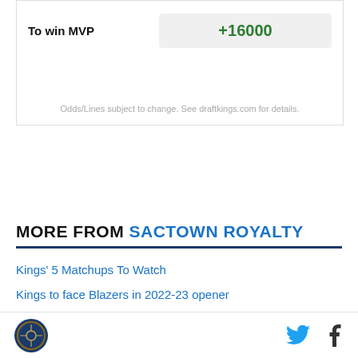|  | Odds |
| --- | --- |
| To win MVP | +16000 |
Odds/Lines subject to change. See draftkings.com for details.
MORE FROM SACTOWN ROYALTY
Kings' 5 Matchups To Watch
Kings to face Blazers in 2022-23 opener
Legendary coach Pete Carril, age 92, dies
Sactown Royalty logo, Twitter icon, Facebook icon